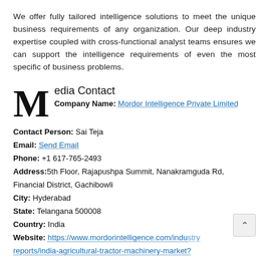We offer fully tailored intelligence solutions to meet the unique business requirements of any organization. Our deep industry expertise coupled with cross-functional analyst teams ensures we can support the intelligence requirements of even the most specific of business problems.
Media Contact
Company Name: Mordor Intelligence Private Limited
Contact Person: Sai Teja
Email: Send Email
Phone: +1 617-765-2493
Address: 5th Floor, Rajapushpa Summit, Nanakramguda Rd, Financial District, Gachibowli
City: Hyderabad
State: Telangana 500008
Country: India
Website: https://www.mordorintelligence.com/industry-reports/india-agricultural-tractor-machinery-market?